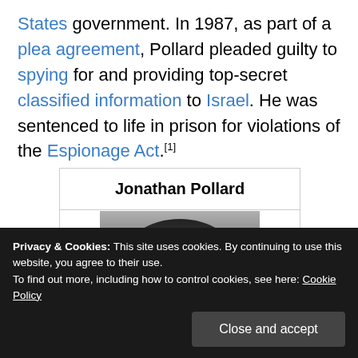States government. In 1987, as part of a plea agreement, Pollard pleaded guilty to spying for and providing top-secret classified information to Israel. He was sentenced to life in prison for violations of the Espionage Act.[1]
| Jonathan Pollard |
| --- |
| [photo] |
[Figure (photo): Black and white photograph of Jonathan Pollard, showing head and upper shoulders, dark curly hair.]
Privacy & Cookies: This site uses cookies. By continuing to use this website, you agree to their use. To find out more, including how to control cookies, see here: Cookie Policy
Close and accept